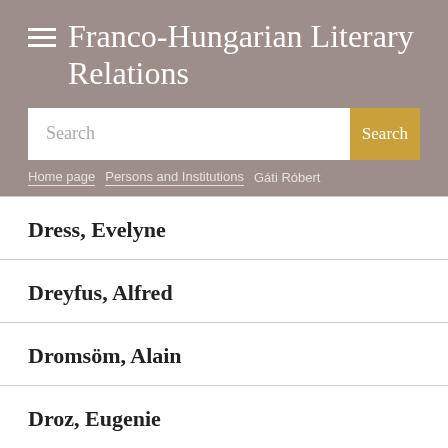Franco-Hungarian Literary Relations
Search
Home page > Persons and Institutions > Gáti Róbert
Dress, Evelyne
Dreyfus, Alfred
Dromsöm, Alain
Droz, Eugenie